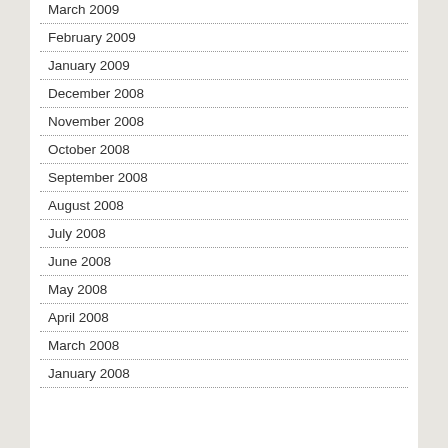March 2009
February 2009
January 2009
December 2008
November 2008
October 2008
September 2008
August 2008
July 2008
June 2008
May 2008
April 2008
March 2008
January 2008